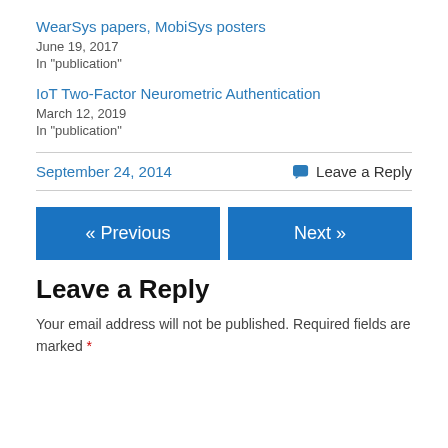WearSys papers, MobiSys posters
June 19, 2017
In "publication"
IoT Two-Factor Neurometric Authentication
March 12, 2019
In "publication"
September 24, 2014
Leave a Reply
« Previous
Next »
Leave a Reply
Your email address will not be published. Required fields are marked *